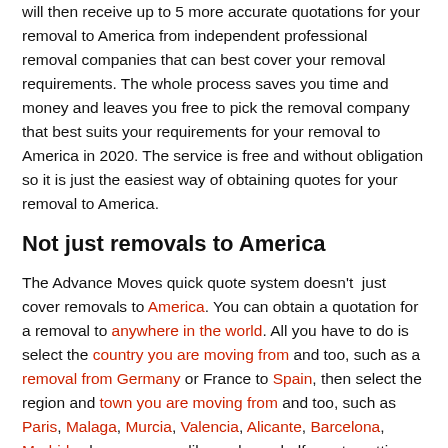will then receive up to 5 more accurate quotations for your removal to America from independent professional removal companies that can best cover your removal requirements. The whole process saves you time and money and leaves you free to pick the removal company that best suits your requirements for your removal to America in 2020. The service is free and without obligation so it is just the easiest way of obtaining quotes for your removal to America.
Not just removals to America
The Advance Moves quick quote system doesn't just cover removals to America. You can obtain a quotation for a removal to anywhere in the world. All you have to do is select the country you are moving from and too, such as a removal from Germany or France to Spain, then select the region and town you are moving from and too, such as Paris, Malaga, Murcia, Valencia, Alicante, Barcelona, Madrid, where ever you like and your half way to getting your quick quote. All you